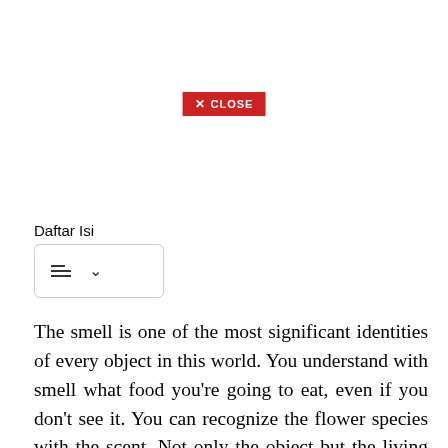[Figure (screenshot): Red close button with X icon and CLOSE text]
Daftar Isi
[Figure (other): Table of contents toggle widget with list icon and chevron dropdown]
The smell is one of the most significant identities of every object in this world. You understand with smell what food you're going to eat, even if you don't see it. You can recognize the flower species with the scent. Not only the object but the living thing, especially the human body, also has some distinct smell.